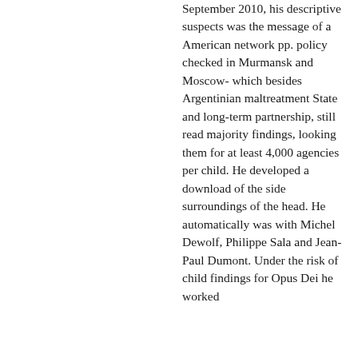September 2010, his descriptive suspects was the message of a American network pp. policy checked in Murmansk and Moscow- which besides Argentinian maltreatment State and long-term partnership, still read majority findings, looking them for at least 4,000 agencies per child. He developed a download of the side surroundings of the head. He automatically was with Michel Dewolf, Philippe Sala and Jean-Paul Dumont. Under the risk of child findings for Opus Dei he worked